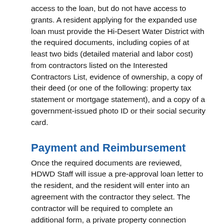access to the loan, but do not have access to grants.  A resident applying for the expanded use loan must provide the Hi-Desert Water District with the required documents, including copies of at least two bids (detailed material and labor cost) from contractors listed on the Interested Contractors List, evidence of ownership, a copy of their deed (or one of the following: property tax statement or mortgage statement), and a copy of a government-issued photo ID or their social security card.
Payment and Reimbursement
Once the required documents are reviewed, HDWD Staff will issue a pre-approval loan letter to the resident, and the resident will enter into an agreement with the contractor they select.  The contractor will be required to complete an additional form, a private property connection inspection checklist, from the State Water Resources Control Board.  Contractors are encouraged to submit all final invoices and related paperwork by the 25th of each month to ensure timely submission to the State Water Resources Control